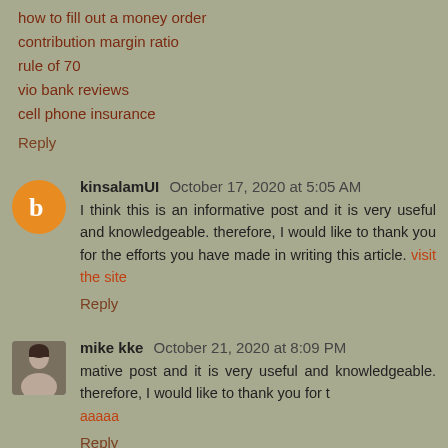how to fill out a money order
contribution margin ratio
rule of 70
vio bank reviews
cell phone insurance
Reply
kinsalamUI  October 17, 2020 at 5:05 AM
I think this is an informative post and it is very useful and knowledgeable. therefore, I would like to thank you for the efforts you have made in writing this article. visit the site
Reply
mike kke  October 21, 2020 at 8:09 PM
mative post and it is very useful and knowledgeable. therefore, I would like to thank you for t
Reply